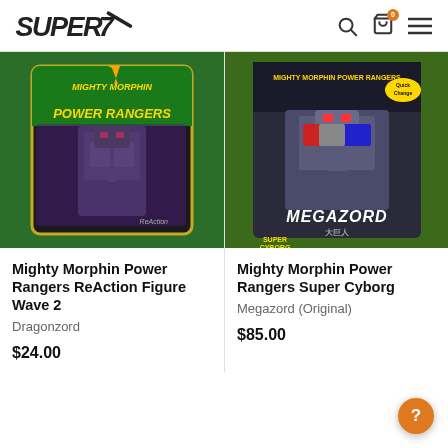Super7 — navigation header with search, cart, and menu icons
[Figure (photo): Mighty Morphin Power Rangers ReAction Figure Wave 2 Dragonzord product package photo on green background]
Mighty Morphin Power Rangers ReAction Figure Wave 2
Dragonzord
$24.00
[Figure (photo): Mighty Morphin Power Rangers Super Cyborg Megazord (Original) product box photo on green background]
Mighty Morphin Power Rangers Super Cyborg
Megazord (Original)
$85.00